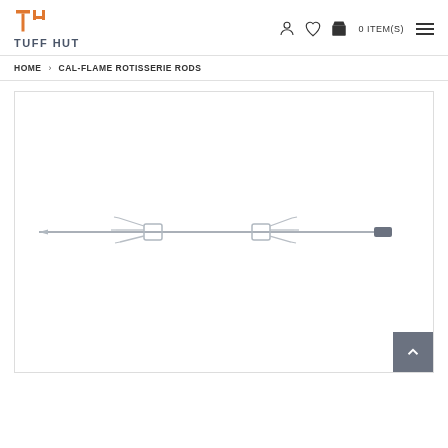[Figure (logo): Tuff Hut logo with stylized TH monogram in orange and company name in dark gray]
0 ITEM(S)
HOME > CAL-FLAME ROTISSERIE RODS
[Figure (photo): Cal-Flame rotisserie rod — a long stainless steel spit rod with two pronged forks and a hexagonal end cap, shown horizontally on white background]